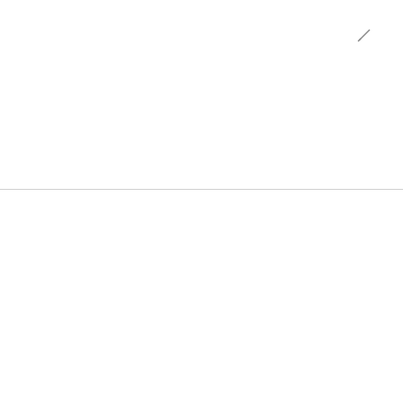[Figure (illustration): Small pencil/edit icon in top-right area of upper white section]
CONTACT US
Emai: portgong@ds-globallogistics.com
Tel: 755-2641 5901
Mobile Phone: 136 3158 1085
Address：深圳市龙华区2125-1号大成时代102-103
[Figure (illustration): Chat/headset customer support icon in a light grey circle on the right side]